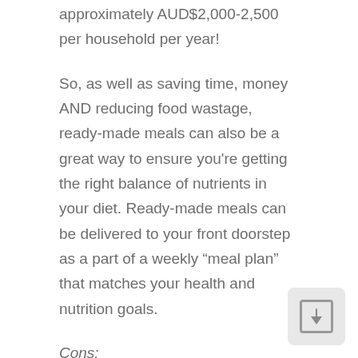approximately AUD$2,000-2,500 per household per year!
So, as well as saving time, money AND reducing food wastage, ready-made meals can also be a great way to ensure you're getting the right balance of nutrients in your diet. Ready-made meals can be delivered to your front doorstep as a part of a weekly “meal plan” that matches your health and nutrition goals.
Cons:
While portion control can be a good thing, ready-made meals can be a little on the smaller side if you’re feeling extra hungry. Energy content can greatly differ between each meal, so having an understanding of